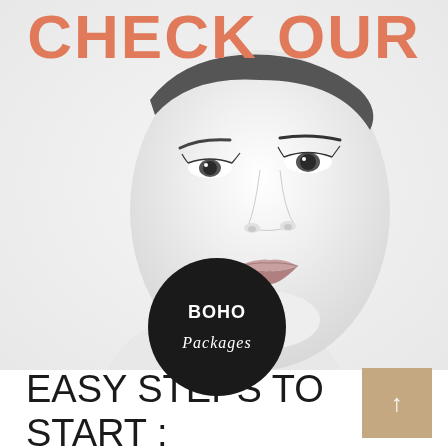CHECK OUR
[Figure (photo): Black and white close-up portrait photo of a young woman's face, high-key lighting, minimal makeup, neutral expression]
[Figure (logo): Black circle badge with white bold text BOHO and italic script text PACKAGES]
EASY STEPS TO START :